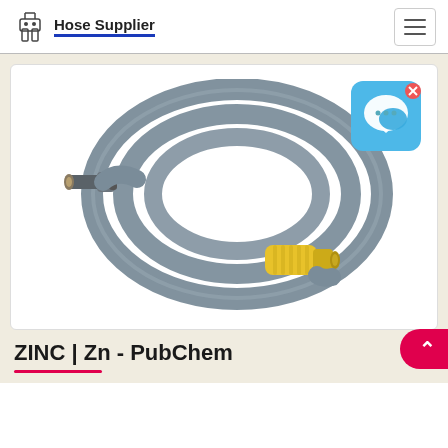Hose Supplier
[Figure (photo): A coiled grey pressure washer hose with a yellow connector fitting on one end and a dark connector on the other end, displayed on white background. A chat widget icon appears overlaid in the top right corner of the image.]
ZINC | Zn - PubChem